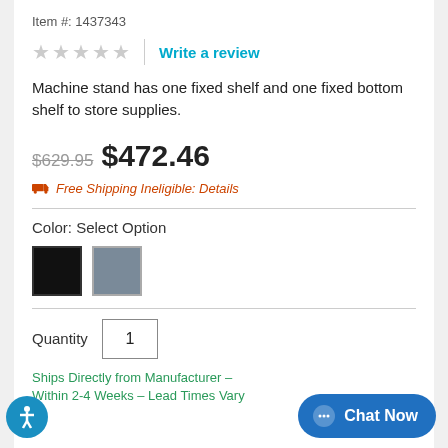Item #: 1437343
★★★★★ | Write a review
Machine stand has one fixed shelf and one fixed bottom shelf to store supplies.
$629.95 $472.46
Free Shipping Ineligible: Details
Color: Select Option
[Figure (other): Two color swatches: black square and gray square]
Quantity  1
Ships Directly from Manufacturer – Within 2-4 Weeks – Lead Times Vary
Chat Now